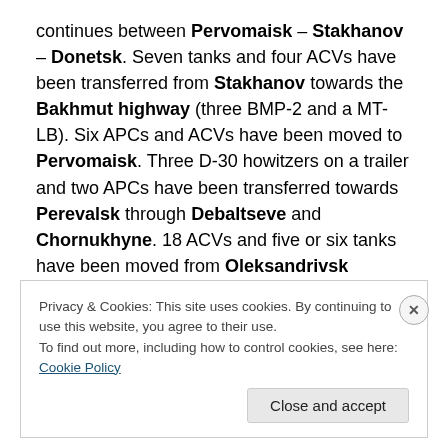continues between Pervomaisk – Stakhanov – Donetsk. Seven tanks and four ACVs have been transferred from Stakhanov towards the Bakhmut highway (three BMP-2 and a MT-LB). Six APCs and ACVs have been moved to Pervomaisk. Three D-30 howitzers on a trailer and two APCs have been transferred towards Perevalsk through Debaltseve and Chornukhyne. 18 ACVs and five or six tanks have been moved from Oleksandrivsk towards Zholobok.
Privacy & Cookies: This site uses cookies. By continuing to use this website, you agree to their use.
To find out more, including how to control cookies, see here: Cookie Policy
Close and accept